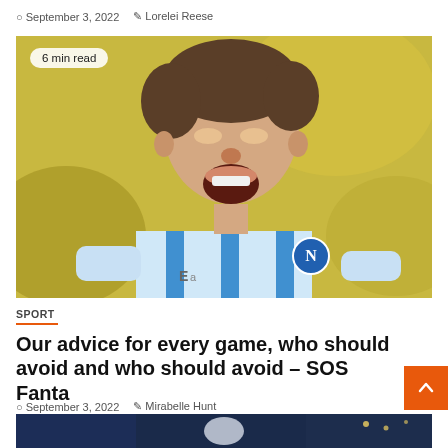September 3, 2022  Lorelei Reese
[Figure (photo): Football player in blue and white Napoli jersey celebrating, mouth open, bokeh yellow background]
6 min read
SPORT
Our advice for every game, who should avoid and who should avoid – SOS Fanta
September 3, 2022  Mirabelle Hunt